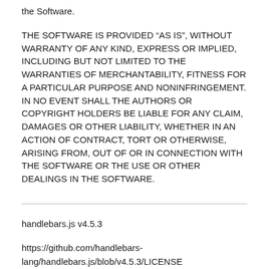the Software.
THE SOFTWARE IS PROVIDED “AS IS”, WITHOUT WARRANTY OF ANY KIND, EXPRESS OR IMPLIED, INCLUDING BUT NOT LIMITED TO THE WARRANTIES OF MERCHANTABILITY, FITNESS FOR A PARTICULAR PURPOSE AND NONINFRINGEMENT. IN NO EVENT SHALL THE AUTHORS OR COPYRIGHT HOLDERS BE LIABLE FOR ANY CLAIM, DAMAGES OR OTHER LIABILITY, WHETHER IN AN ACTION OF CONTRACT, TORT OR OTHERWISE, ARISING FROM, OUT OF OR IN CONNECTION WITH THE SOFTWARE OR THE USE OR OTHER DEALINGS IN THE SOFTWARE.
handlebars.js v4.5.3
https://github.com/handlebars-lang/handlebars.js/blob/v4.5.3/LICENSE